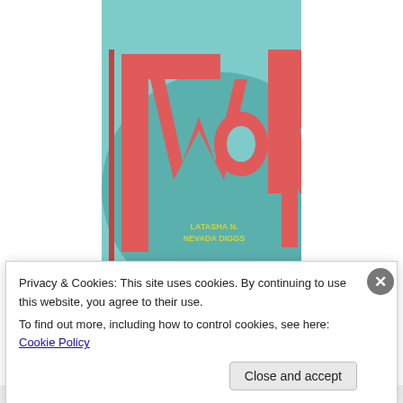[Figure (illustration): Book cover for 'TWeRk' by LaTasha N. Nevada Diggs. Teal/mint background with large red stylized text 'TWeRk' and a darker teal circular shape. Author name in yellow-green text.]
It may not be the VMAs, but the Brooklyn Book Festival
isn't your mother's book club. The festival announced its
Privacy & Cookies: This site uses cookies. By continuing to use this website, you agree to their use.
To find out more, including how to control cookies, see here: Cookie Policy
Close and accept